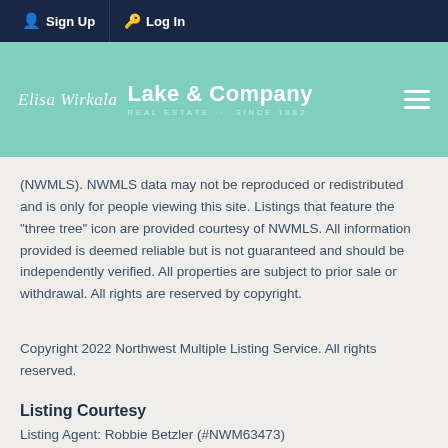Sign Up   Log In
[Figure (logo): Elisa Wirkala | Lake & Company Real Estate Since 1882 logo on teal background with hamburger menu icon]
(NWMLS). NWMLS data may not be reproduced or redistributed and is only for people viewing this site. Listings that feature the "three tree" icon are provided courtesy of NWMLS. All information provided is deemed reliable but is not guaranteed and should be independently verified. All properties are subject to prior sale or withdrawal. All rights are reserved by copyright.
Copyright 2022 Northwest Multiple Listing Service. All rights reserved.
Listing Courtesy
Listing Agent: Robbie Betzler (#NWM63473)